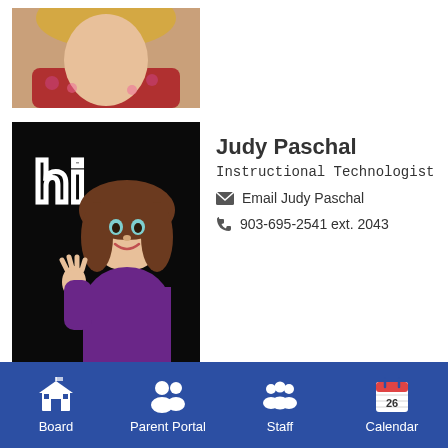[Figure (photo): Partial photo of a woman with blonde hair and red floral top, cropped at top]
[Figure (illustration): Bitmoji cartoon avatar of Judy Paschal on black background with 'hi' text, waving]
Judy Paschal
Instructional Technologist
Email Judy Paschal
903-695-2541 ext. 2043
[Figure (photo): Photo of Bobby Payne, an older man wearing a dark hat and blue shirt]
Bobby Payne
Bus Driver
Email Bobby Payne
Board | Parent Portal | Staff | Calendar